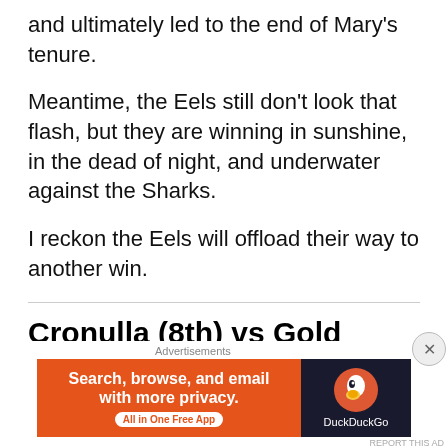and ultimately led to the end of Mary's tenure.
Meantime, the Eels still don't look that flash, but they are winning in sunshine, in the dead of night, and underwater against the Sharks.
I reckon the Eels will offload their way to another win.
Cronulla (8th) vs Gold Coast (13th) at Kogarah Oval, Saturday 3pm AEST
[Figure (screenshot): DuckDuckGo advertisement banner: orange left panel with text 'Search, browse, and email with more privacy. All in One Free App' and dark right panel with DuckDuckGo duck logo and brand name.]